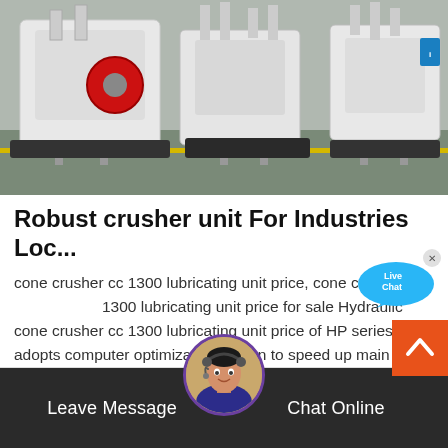[Figure (photo): Industrial crusher machines in a factory floor, white heavy machinery with a red wheel visible, green floor markings]
Robust crusher unit For Industries Loc...
cone crusher cc 1300 lubricating unit price, cone crusher cc 1300 lubricating unit price for sale Hydraulic cone crusher cc 1300 lubricating unit price of HP series adopts computer optimization design to speed up main shaft speed. cone crusher cc 1300 lubricating unit price is the most ideal equipment for large stone crushing factory and mining industry.
[Figure (infographic): Live Chat bubble/widget in blue with chat icon and X close button]
[Figure (infographic): Orange scroll-to-top button with upward chevron arrow]
[Figure (photo): Customer support avatar - woman with headset microphone in circular purple-bordered frame]
Leave Message
Chat Online